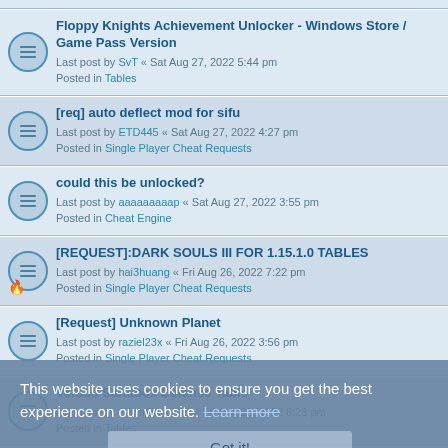Floppy Knights Achievement Unlocker - Windows Store / Game Pass Version
Last post by SvT « Sat Aug 27, 2022 5:44 pm
Posted in Tables
[req] auto deflect mod for sifu
Last post by ETD445 « Sat Aug 27, 2022 4:27 pm
Posted in Single Player Cheat Requests
could this be unlocked?
Last post by aaaaaaaaap « Sat Aug 27, 2022 3:55 pm
Posted in Cheat Engine
[REQUEST]:DARK SOULS III FOR 1.15.1.0 TABLES
Last post by hai3huang « Fri Aug 26, 2022 7:22 pm
Posted in Single Player Cheat Requests
[Request] Unknown Planet
Last post by raziel23x « Fri Aug 26, 2022 3:56 pm
Posted in Single Player Cheat Requests
Versus Sandbox Defense Table
Last post by SilverRabbit90 « Fri Aug 26, 2022 8:23 pm
Posted in Tables
Rogues Like Us Table
Last post by SilverRabbit90 « Fri Aug 26, 2022 1:06 am
Posted in Tables
Risk of Rain 2
Last post by Akira « Fri Aug 26, 2022 12:26 am
Posted in Tables
This website uses cookies to ensure you get the best experience on our website. Learn more